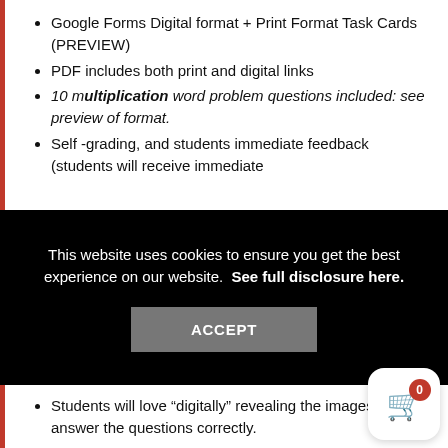Google Forms Digital format + Print Format Task Cards (PREVIEW)
PDF includes both print and digital links
10 multiplication word problem questions included: see preview of format.
Self -grading, and students immediate feedback (students will receive immediate
This website uses cookies to ensure you get the best experience on our website.  See full disclosure here.
ACCEPT
Students will love “digitally” revealing the images as answer the questions correctly.
Kindly Note: This product is NOT Editable and in English Only. Please Preview